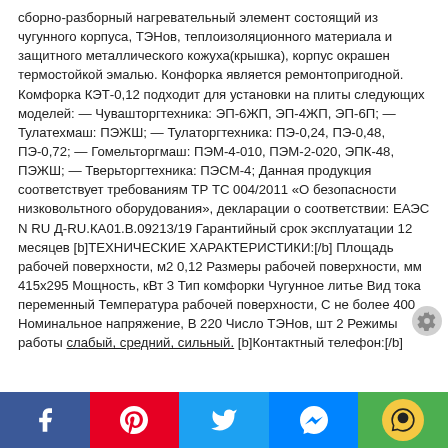сборно-разборный нагревательный элемент состоящий из чугунного корпуса, ТЭНов, теплоизоляционного материала и защитного металлического кожуха(крышка), корпус окрашен термостойкой эмалью. Конфорка является ремонтопригодной. Комфорка КЭТ-0,12 подходит для установки на плиты следующих моделей: — Чувашторгтехника: ЭП-6ЖП, ЭП-4ЖП, ЭП-6П; — Тулатехмаш: ПЭЖШ; — Тулаторгтехника: ПЭ-0,24, ПЭ-0,48, ПЭ-0,72; — Гомельторгмаш: ПЭМ-4-010, ПЭМ-2-020, ЭПК-48, ПЭЖШ; — Тверьторгтехника: ПЭСМ-4; Данная продукция соответствует требованиям ТР ТС 004/2011 «О безопасности низковольтного оборудования», декларации о соответствии: ЕАЭС N RU Д-RU.КА01.В.09213/19 Гарантийный срок эксплуатации 12 месяцев [b]ТЕХНИЧЕСКИЕ ХАРАКТЕРИСТИКИ:[/b] Площадь рабочей поверхности, м2 0,12 Размеры рабочей поверхности, мм 415x295 Мощность, кВт 3 Тип комфорки Чугунное литье Вид тока переменный Температура рабочей поверхности, С не более 400 Номинальное напряжение, В 220 Число ТЭНов, шт 2 Режимы работы слабый, средний, сильный. [b]Контактный телефон:[/b]
Facebook | Pinterest | Twitter | Messenger | Chat